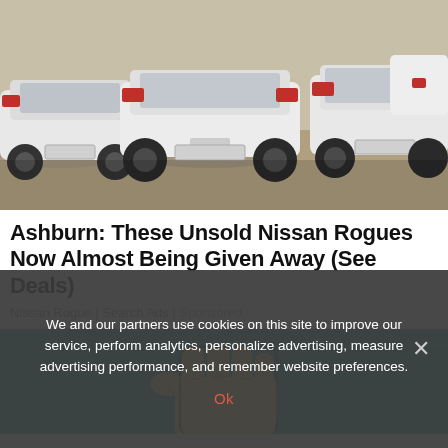[Figure (photo): Row of white Nissan Rogue SUVs parked in a lot, viewed from the rear/side at an angle, sandy ground, desert-like setting.]
Ashburn: These Unsold Nissan Rogues Now Almost Being Given Away (See Deals)
Nissan Rogue | Search Ads | Sponsored
[Figure (illustration): Cartoon illustration of a hand holding something (a card or bill) against a teal/turquoise textured wall background.]
We and our partners use cookies on this site to improve our service, perform analytics, personalize advertising, measure advertising performance, and remember website preferences.
Ok